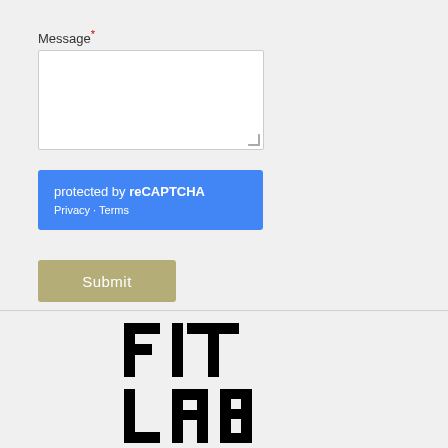Message*
[Figure (screenshot): White textarea input box for message entry with resize handle at bottom right]
[Figure (screenshot): Blue reCAPTCHA protected by reCAPTCHA box with Privacy and Terms links in white text]
[Figure (screenshot): Tan/olive colored Submit button]
[Figure (logo): FIT LAB logo in bold black geometric sans-serif letters, large display font]